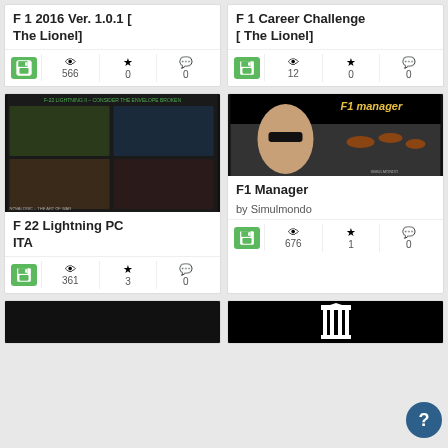F 1 2016 Ver. 1.0.1 [ The Lionel]
566 views, 0 favorites, 0 comments
F 1 Career Challenge [ The Lionel]
12 views, 0 favorites, 0 comments
[Figure (photo): F-22 Lightning PC game cover art with military jet fighter images on dark background]
F 22 Lightning PC ITA
361 views, 3 favorites, 0 comments
[Figure (photo): F1 Manager game screenshot showing F1 racing cars on track with a man in sunglasses, by Simulmondo]
F1 Manager
by Simulmondo
676 views, 1 favorite, 0 comments
[Figure (photo): Black image with white Internet Archive columns/pillars logo]
[Figure (photo): Dark bottom-left thumbnail image]